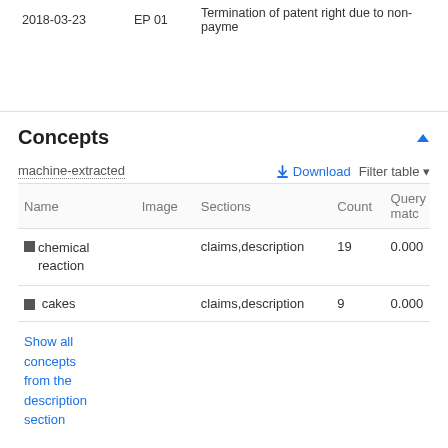|  |  |  |
| --- | --- | --- |
| 2018-03-23 | EP 01 | Termination of patent right due to non-payme |
Concepts
machine-extracted
| Name | Image | Sections | Count | Query match |
| --- | --- | --- | --- | --- |
| chemical reaction |  | claims,description | 19 | 0.000 |
| cakes |  | claims,description | 9 | 0.000 |
Show all concepts from the description section